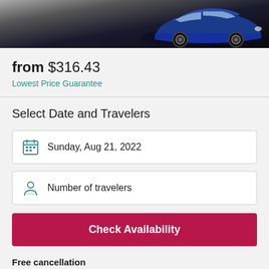[Figure (photo): Blue sports car on dark gradient background banner]
from $316.43
Lowest Price Guarantee
Select Date and Travelers
Sunday, Aug 21, 2022
Number of travelers
Check Availability
Free cancellation
Up to 24 hours in advance. Learn more